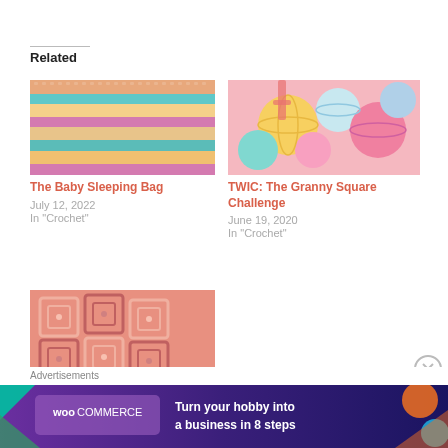Related
[Figure (photo): Close-up of colorful striped crochet fabric in pink, teal, yellow, and blue]
The Baby Sleeping Bag
July 12, 2022
In "Crochet"
[Figure (photo): Colorful yarn balls in pink, teal, yellow, and multicolored]
TWIC: The Granny Square Challenge
June 19, 2020
In "Crochet"
[Figure (photo): Close-up of pink/salmon colored crochet granny square work]
Advertisements
[Figure (screenshot): WooCommerce advertisement banner: Turn your hobby into a business in 8 steps]